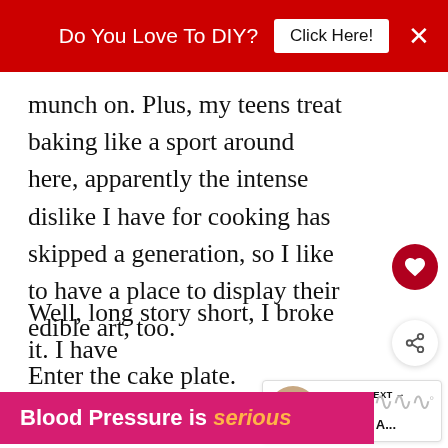Do You Love To DIY?  Click Here!  ✕
munch on. Plus, my teens treat baking like a sport around here, apparently the intense dislike I have for cooking has skipped a generation, so I like to have a place to display their edible art, too.
Enter the cake plate.
[Figure (infographic): WHAT'S NEXT arrow widget with thumbnail image and text 'How To Choose A...']
Well, long story short, I broke it. I have
[Figure (infographic): Bottom ad banner: 'Blood Pressure is serious' in pink/magenta background]